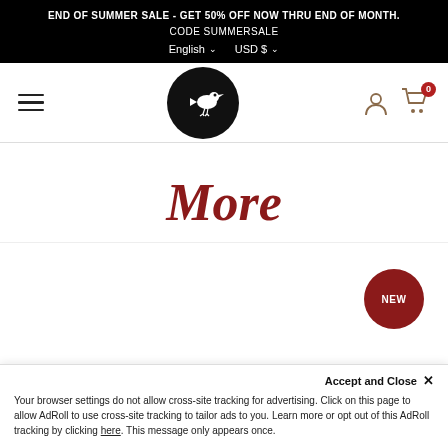END OF SUMMER SALE - GET 50% OFF NOW THRU END OF MONTH.
CODE SUMMERSALE
English  USD $
[Figure (logo): Black circle with white bird silhouette logo in navigation bar]
More
[Figure (other): Red circular NEW badge in product area]
Accept and Close ×
Your browser settings do not allow cross-site tracking for advertising. Click on this page to allow AdRoll to use cross-site tracking to tailor ads to you. Learn more or opt out of this AdRoll tracking by clicking here. This message only appears once.